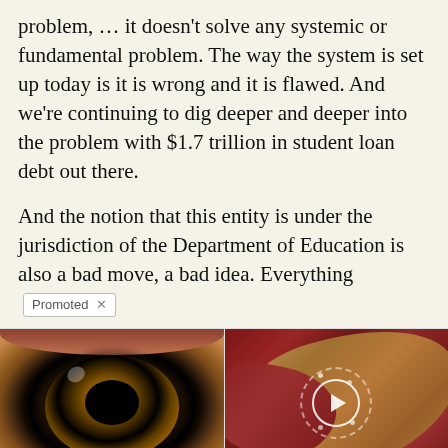problem, … it doesn't solve any systemic or fundamental problem. The way the system is set up today is it is wrong and it is flawed. And we're continuing to dig deeper and deeper into the problem with $1.7 trillion in student loan debt out there.

And the notion that this entity is under the jurisdiction of the Department of Education is also a bad move, a bad idea. Everything [Promoted ×]
[Figure (photo): Close-up photograph of a human eye with detailed iris]
How Your Body Warns You That Dementia Is Forming
🔥 34,193
[Figure (photo): Medical illustration/photo showing internal organs]
Why Doctors In The Know No Longer Prescribe Metformin
🔥 87,111